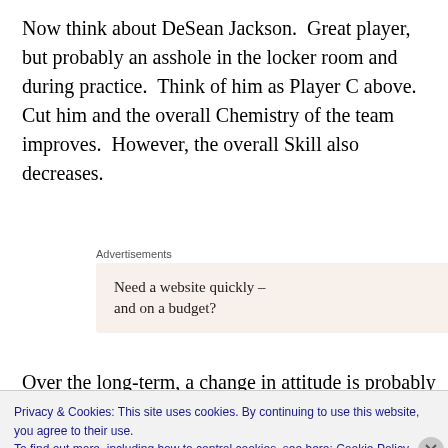Now think about DeSean Jackson.  Great player, but probably an asshole in the locker room and during practice.  Think of him as Player C above.  Cut him and the overall Chemistry of the team improves.  However, the overall Skill also decreases.
[Figure (other): Advertisement box with text 'Need a website quickly – and on a budget?' and WordPress logo]
Over the long-term, a change in attitude is probably a very good thing.  BUT, assuming that the process of improving
Privacy & Cookies: This site uses cookies. By continuing to use this website, you agree to their use.
To find out more, including how to control cookies, see here: Cookie Policy